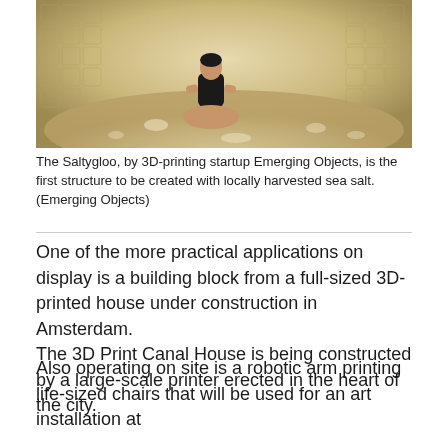[Figure (photo): Woman in black dress sitting cross-legged on the floor inside the Saltygloo, a dome-like structure with walls covered in textured sea salt tiles, creating a honeycomb-like pattern. Light filters through creating dappled patterns on the floor.]
The Saltygloo, by 3D-printing startup Emerging Objects, is the first structure to be created with locally harvested sea salt. (Emerging Objects)
One of the more practical applications on display is a building block from a full-sized 3D-printed house under construction in Amsterdam.
The 3D Print Canal House is being constructed by a large-scale printer erected in the heart of the city.
Also operating on site is a robotic arm printing life-sized chairs that will be used for an art installation at